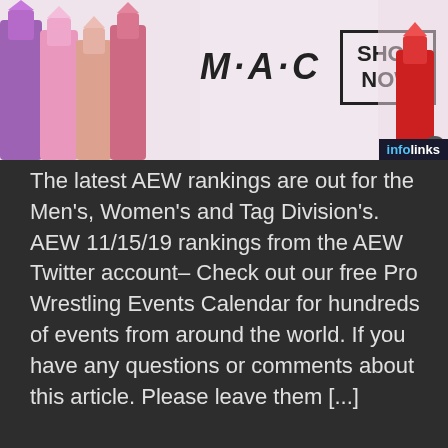[Figure (screenshot): MAC cosmetics advertisement banner showing lipsticks, MAC logo in italic, and SHOP NOW box. Infolinks label visible top right. Close X button bottom right.]
The latest AEW rankings are out for the Men's, Women's and Tag Division's. AEW 11/15/19 rankings from the AEW Twitter account– Check out our free Pro Wrestling Events Calendar for hundreds of events from around the world. If you have any questions or comments about this article. Please leave them [...]
Share this:
[Figure (screenshot): Twitter share button (blue circle with bird icon) and Facebook share button (blue circle with f icon)]
[Figure (screenshot): Infolinks bottom bar label]
[Figure (screenshot): NFL Shop advertisement: product image of red jersey, NFL Shop title in blue, Free shipping on orders over $25, www.nflshop.com, SHOP NOW button, blue arrow circle, close X button]